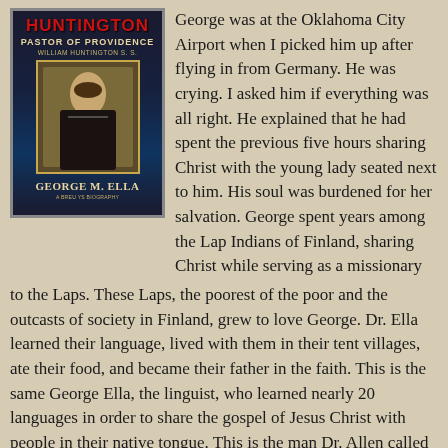[Figure (illustration): Book cover of 'Huntington: Pastor of Providence' by George M. Ella, showing a dark blue/navy background with a portrait of a historical figure dressed in black, with the title in red at top and author name in gold at bottom.]
George was at the Oklahoma City Airport when I picked him up after flying in from Germany. He was crying. I asked him if everything was all right. He explained that he had spent the previous five hours sharing Christ with the young lady seated next to him. His soul was burdened for her salvation. George spent years among the Lap Indians of Finland, sharing Christ while serving as a missionary to the Laps. These Laps, the poorest of the poor and the outcasts of society in Finland, grew to love George. Dr. Ella learned their language, lived with them in their tent villages, ate their food, and became their father in the faith. This is the same George Ella, the linguist, who learned nearly 20 languages in order to share the gospel of Jesus Christ with people in their native tongue. This is the man Dr. Allen called a hyper-calvinist. If Ella is a hyper-calvinist, may God give the Southern Baptist Convention more of them.
I think that if it is the desire to build bridges in the Southern